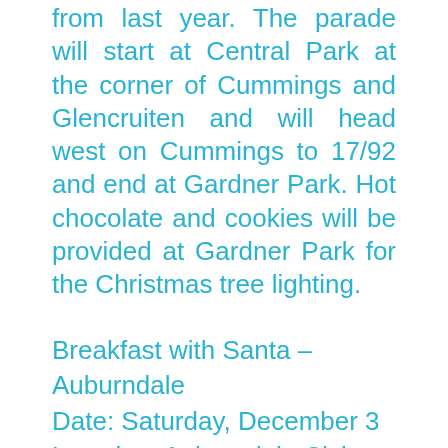from last year. The parade will start at Central Park at the corner of Cummings and Glencruiten and will head west on Cummings to 17/92 and end at Gardner Park. Hot chocolate and cookies will be provided at Gardner Park for the Christmas tree lighting.
Breakfast with Santa – Auburndale
Date: Saturday, December 3
Location: Auburndale Civic Center
Time: 9-11 a.m.